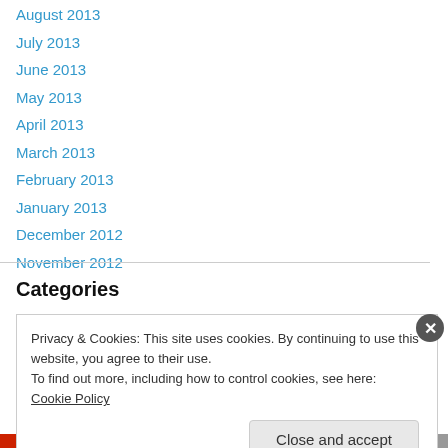August 2013
July 2013
June 2013
May 2013
April 2013
March 2013
February 2013
January 2013
December 2012
November 2012
Categories
Privacy & Cookies: This site uses cookies. By continuing to use this website, you agree to their use.
To find out more, including how to control cookies, see here: Cookie Policy